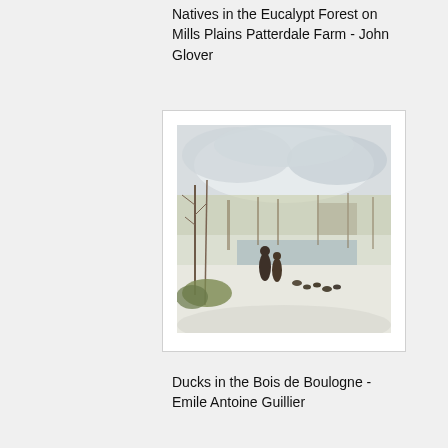Natives in the Eucalypt Forest on Mills Plains Patterdale Farm - John Glover
[Figure (illustration): Painting of ducks in a winter park scene with figures and bare trees, snow-covered ground near a pond]
Ducks in the Bois de Boulogne - Emile Antoine Guillier
[Figure (illustration): Impressionist painting of a river or lake scene with boats, buildings and trees in warm tones]